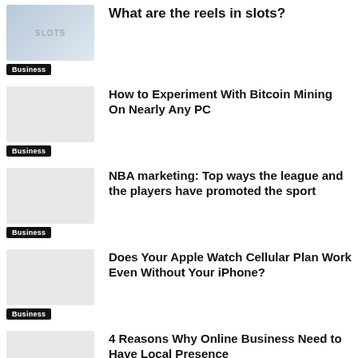What are the reels in slots? [Business]
How to Experiment With Bitcoin Mining On Nearly Any PC [Business]
NBA marketing: Top ways the league and the players have promoted the sport [Business]
Does Your Apple Watch Cellular Plan Work Even Without Your iPhone? [Business]
4 Reasons Why Online Business Need to Have Local Presence [Business]